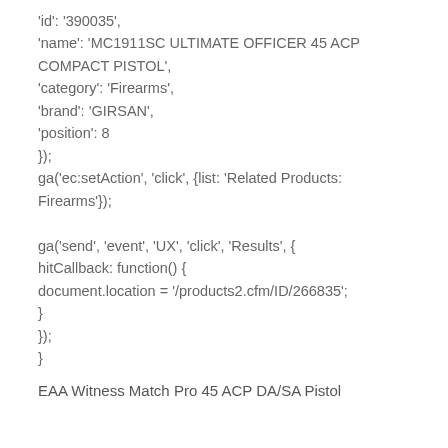'id': '390035',
'name': 'MC1911SC ULTIMATE OFFICER 45 ACP COMPACT PISTOL',
'category': 'Firearms',
'brand': 'GIRSAN',
'position': 8
});
ga('ec:setAction', 'click', {list: 'Related Products: Firearms'});

ga('send', 'event', 'UX', 'click', 'Results', {
hitCallback: function() {
document.location = '/products2.cfm/ID/266835';
}
});
}
EAA Witness Match Pro 45 ACP DA/SA Pistol